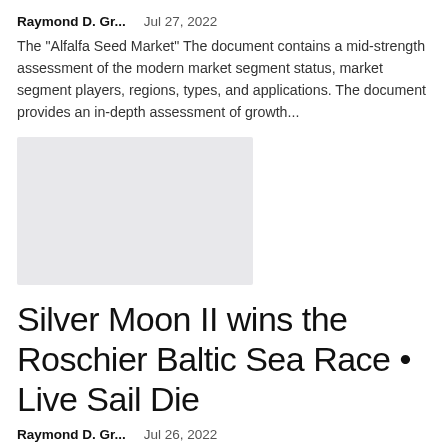Raymond D. Gr...    Jul 27, 2022
The "Alfalfa Seed Market" The document contains a mid-strength assessment of the modern market segment status, market segment players, regions, types, and applications. The document provides an in-depth assessment of growth...
[Figure (photo): Gray placeholder image rectangle]
Silver Moon II wins the Roschier Baltic Sea Race • Live Sail Die
Raymond D. Gr...    Jul 26, 2022